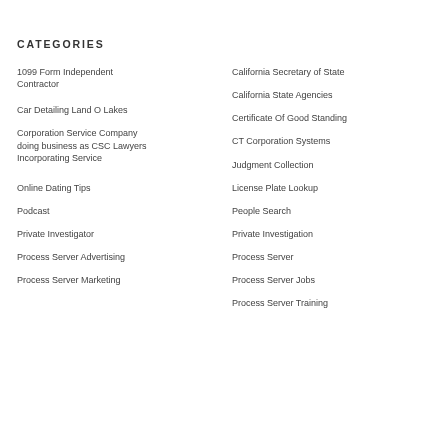CATEGORIES
1099 Form Independent Contractor
Car Detailing Land O Lakes
Corporation Service Company doing business as CSC Lawyers Incorporating Service
Online Dating Tips
Podcast
Private Investigator
Process Server Advertising
Process Server Marketing
California Secretary of State
California State Agencies
Certificate Of Good Standing
CT Corporation Systems
Judgment Collection
License Plate Lookup
People Search
Private Investigation
Process Server
Process Server Jobs
Process Server Training